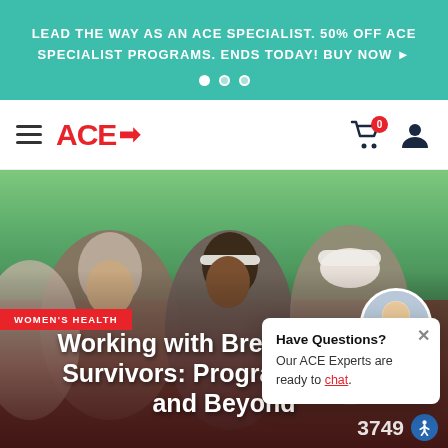LEAD THE WAY AS AN ACE SPECIALIST. 50% OFF ACE SPECIALIST PROGRAMS. ENDS TODAY! BUY NOW ▶
[Figure (logo): ACE logo with arrow in red text on white nav bar]
[Figure (photo): Hero photo of women jogging outdoors in a group, with a dark overlay at bottom]
WOMEN'S HEALTH
Working with Breast Cancer Survivors: Program Design and Beyond
[Figure (photo): Circular avatar of a male person in white shirt]
Have Questions? Our ACE Experts are ready to chat.
3749